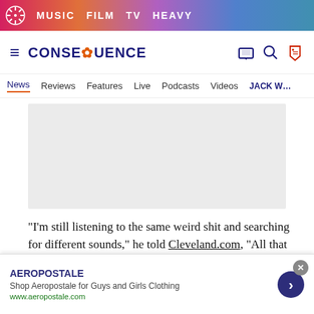MUSIC  FILM  TV  HEAVY
[Figure (screenshot): Consequence of Sound website logo and navigation header with hamburger menu, CONSEQUENCE logo, and icons for TV guide, search, and tags]
News  Reviews  Features  Live  Podcasts  Videos  JACK W…
[Figure (screenshot): Gray advertisement placeholder box]
“I’m still listening to the same weird shit and searching for different sounds,” he told Cleveland.com, “All that stuff [probably] influences me more than my surroundings.” He added that he’s “really excited about recording” and that if all goes well, then we
[Figure (screenshot): Aeropostale advertisement banner at bottom with brand name, description 'Shop Aeropostale for Guys and Girls Clothing', URL www.aeropostale.com, close button, and blue arrow navigation button]